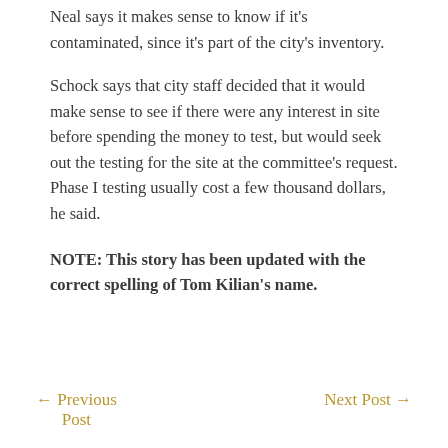Neal says it makes sense to know if it's contaminated, since it's part of the city's inventory.
Schock says that city staff decided that it would make sense to see if there were any interest in site before spending the money to test, but would seek out the testing for the site at the committee's request. Phase I testing usually cost a few thousand dollars, he said.
NOTE: This story has been updated with the correct spelling of Tom Kilian's name.
← Previous Post    Next Post →